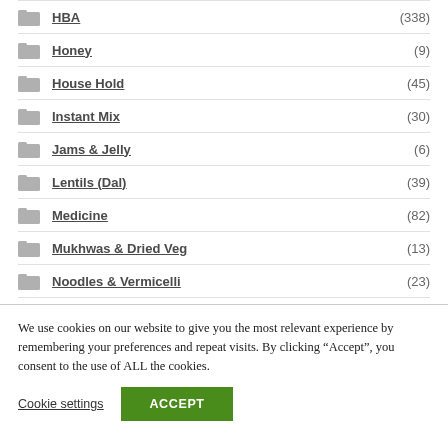HBA (338)
Honey (9)
House Hold (45)
Instant Mix (30)
Jams & Jelly (6)
Lentils (Dal) (39)
Medicine (82)
Mukhwas & Dried Veg (13)
Noodles & Vermicelli (23)
We use cookies on our website to give you the most relevant experience by remembering your preferences and repeat visits. By clicking “Accept”, you consent to the use of ALL the cookies.
Cookie settings | ACCEPT